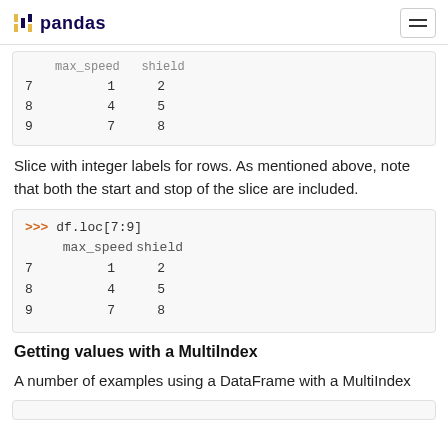pandas
|  | max_speed | shield |
| --- | --- | --- |
| 7 | 1 | 2 |
| 8 | 4 | 5 |
| 9 | 7 | 8 |
Slice with integer labels for rows. As mentioned above, note that both the start and stop of the slice are included.
>>> df.loc[7:9]
   max_speed  shield
7          1       2
8          4       5
9          7       8
Getting values with a MultiIndex
A number of examples using a DataFrame with a MultiIndex